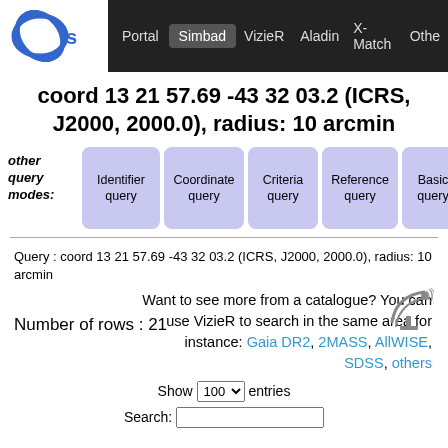Portal | Simbad | VizieR | Aladin | X-Match | Others
coord 13 21 57.69 -43 32 03.2 (ICRS, J2000, 2000.0), radius: 10 arcmin
other query modes:
Identifier query | Coordinate query | Criteria query | Reference query | Basic query
Query : coord 13 21 57.69 -43 32 03.2 (ICRS, J2000, 2000.0), radius: 10 arcmin
Number of rows : 21
Want to see more from a catalogue? You can use VizieR to search in the same area for instance: Gaia DR2, 2MASS, AllWISE, SDSS, others
Show 100 entries
Search: